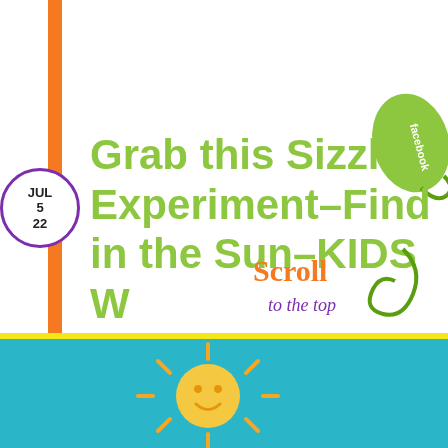[Figure (illustration): Orange vertical sidebar bar on left edge of page]
[Figure (illustration): Purple circle badge showing date: JUL 5 22]
Grab this Sizzlin Experiment-Find in the Sun-KIDS W
[Figure (illustration): Green leaf shape with 'facebook' text written on it, with a curling green vine]
[Figure (illustration): Orange and cursive text reading 'Scroll to the top' with a green swirling design]
[Figure (illustration): Bottom teal/cyan banner with yellow border and a sun illustration]